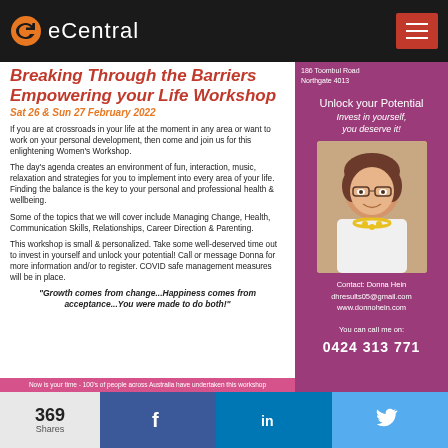eCentral
Breaking Through the Barriers Empowering your Life Workshop
Sat 26 & Sun 27 February 2022
If you are at crossroads in your life at the moment in any area or want to work on your personal development, then come and join us for this enlightening Women's Workshop.
The day's agenda creates an environment of fun, interaction, music, relaxation and strategies for you to implement into every area of your life. Finding the balance is the key to your personal and professional health & wellbeing.
Some of the topics that we will cover include Managing Change, Health, Communication Skills, Relationships, Career Direction & Parenting.
This workshop is small & personalized. Take some well-deserved time out to invest in yourself and unlock your potential! Call or message Donna for more information and/or to register. COVID safe management measures will be in place.
"Growth comes from change...Happiness comes from acceptance...You were made to do both!"
Now is your time - 100's of people across Australia have undertaken this workshop
186 Toombul Road Northgate 4013
Unlock your Potential
Invest in yourself, you deserve it!
[Figure (photo): Portrait photo of Donna Hein, a woman with short brown hair wearing glasses and a white top with a yellow necklace]
Contact: Donna Hein
dhresults05@gmail.com
www.donnohein.com
You can call me on:
0424 313 771
369 Shares  f  in  Twitter